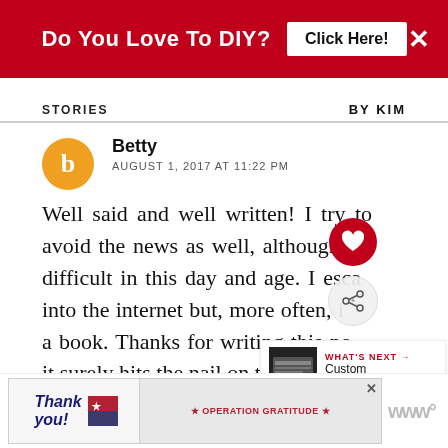[Figure (screenshot): Red banner advertisement: 'Do You Love To DIY? Click Here!' with white X close button]
STORIES   BY KIM
Betty
AUGUST 1, 2017 AT 11:22 PM
Well said and well written! I try to avoid the news as well, although it's difficult in this day and age. I escape into the internet but, more often, it's a book. Thanks for writing this post, it surely hits the nail on the head!
REPLY DELETE
[Figure (screenshot): Operation Gratitude advertisement banner with 'Thank You' text and firefighters photo]
[Figure (infographic): Floating social share buttons: heart (favorite) and share icons, plus 'What's Next' panel showing Custom Camouflage article]